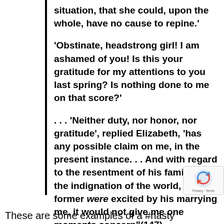situation, that she could, upon the whole, have no cause to repine.'
'Obstinate, headstrong girl! I am ashamed of you! Is this your gratitude for my attentions to you last spring? Is nothing done to me on that score?'
. . . 'Neither duty, nor honor, nor gratitude', replied Elizabeth, 'has any possible claim on me, in the present instance. . . And with regard to the resentment of his family, or the indignation of the world, if the former were excited by his marrying me, it would not give me one moments concern"(147)
These are some examples of a #nasty